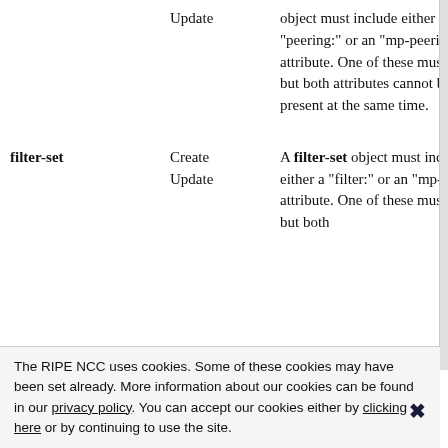| Object | Operation | Description |
| --- | --- | --- |
|  | Update | object must include either a "peering:" or an "mp-peering:" attribute. One of these must exist, but both attributes cannot be present at the same time. |
| filter-set | Create
Update | A filter-set object must include either a "filter:" or an "mp-filter:" attribute. One of these must exist, but both |
The RIPE NCC uses cookies. Some of these cookies may have been set already. More information about our cookies can be found in our privacy policy. You can accept our cookies either by clicking here or by continuing to use the site.